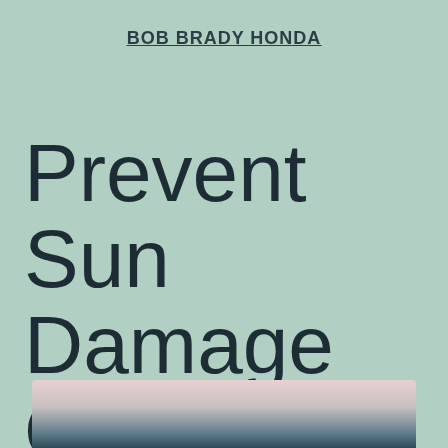BOB BRADY HONDA
Prevent Sun Damage On Your Vehicle
[Figure (photo): Partial view of a car exterior showing sun damage, visible at bottom of page]